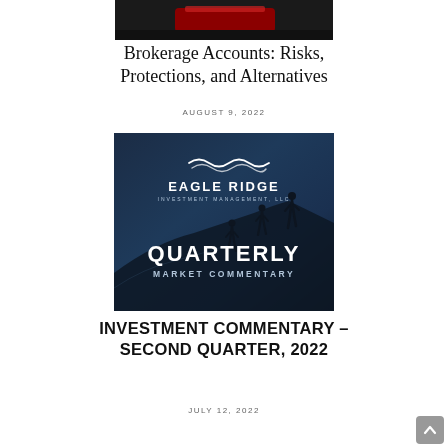[Figure (photo): Partial image at top of page showing dark background with red element, cropped]
Brokerage Accounts: Risks, Protections, and Alternatives
AUGUST 9, 2022
[Figure (logo): Eagle Ridge Investment Management, LLC logo with Quarterly Market Commentary text and silhouette of people climbing a hill against a dark blue background]
INVESTMENT COMMENTARY – SECOND QUARTER, 2022
JULY 12, 2022